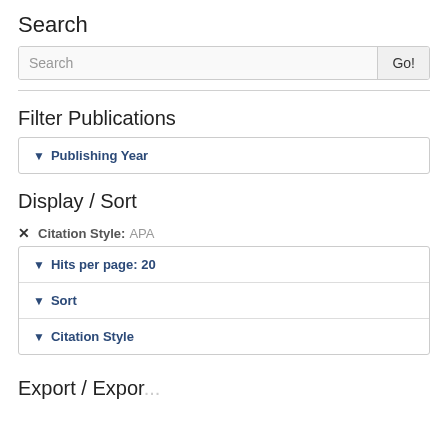Search
Search [input field] Go!
Filter Publications
▼ Publishing Year
Display / Sort
✕ Citation Style: APA
▼ Hits per page: 20
▼ Sort
▼ Citation Style
Export / Export...